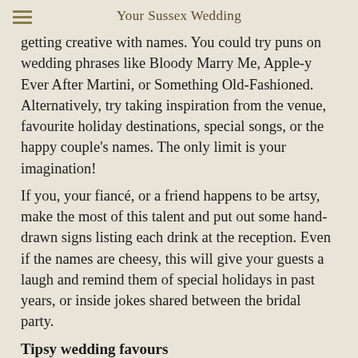Your Sussex Wedding
getting creative with names. You could try puns on wedding phrases like Bloody Marry Me, Apple-y Ever After Martini, or Something Old-Fashioned. Alternatively, try taking inspiration from the venue, favourite holiday destinations, special songs, or the happy couple's names. The only limit is your imagination!
If you, your fiancé, or a friend happens to be artsy, make the most of this talent and put out some hand-drawn signs listing each drink at the reception. Even if the names are cheesy, this will give your guests a laugh and remind them of special holidays in past years, or inside jokes shared between the bridal party.
Tipsy wedding favours